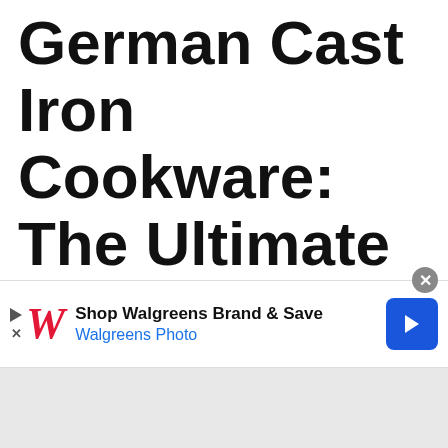German Cast Iron Cookware: The Ultimate Cookware For Healthy Cooking!
German cast iron cookware is a high-quality product perfect for anyone who wants to cook like a professional chef. The pots and
[Figure (other): Advertisement banner for Walgreens Photo: 'Shop Walgreens Brand & Save' with Walgreens logo, play/close controls, and a blue navigation arrow icon.]